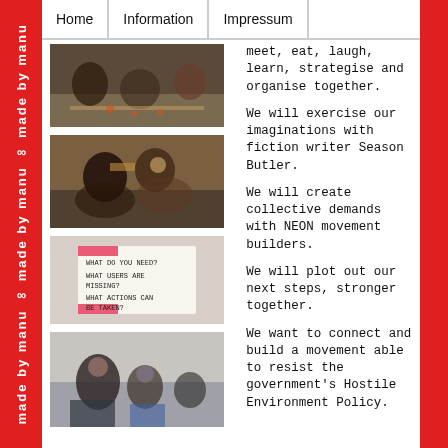Home | Information | Impressum
[Figure (photo): People seated around a table working with papers, autumn leaves visible on floor]
meet, eat, laugh, learn, strategise and organise together.
[Figure (photo): Two people smiling and talking at a table with drinks]
We will exercise our imaginations with fiction writer Season Butler.
We will create collective demands with NEON movement builders.
[Figure (photo): Sticky note on wall reading: WHAT DO YOU NEED? WHAT USERS ARE MISSING? WHAT ACTIONS CAN BE TAKEN? with pink tape]
We will plot out our next steps, stronger together.
[Figure (photo): Three people seated, woman in foreground, two others behind, indoor setting]
We want to connect and build a movement able to resist the government's Hostile Environment Policy.